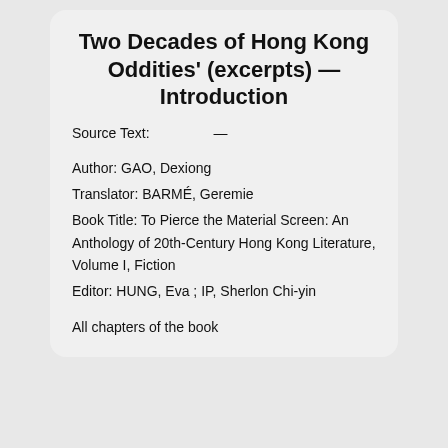Two Decades of Hong Kong Oddities' (excerpts) — Introduction
Source Text:    —
Author: GAO, Dexiong
Translator: BARMÉ, Geremie
Book Title: To Pierce the Material Screen: An Anthology of 20th-Century Hong Kong Literature, Volume I, Fiction
Editor: HUNG, Eva ; IP, Sherlon Chi-yin
All chapters of the book